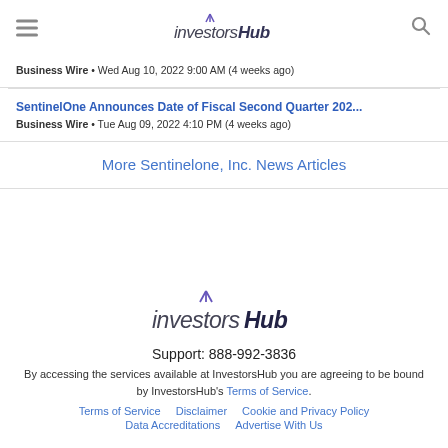InvestorsHub
Business Wire • Wed Aug 10, 2022 9:00 AM (4 weeks ago)
SentinelOne Announces Date of Fiscal Second Quarter 202...
Business Wire • Tue Aug 09, 2022 4:10 PM (4 weeks ago)
More Sentinelone, Inc. News Articles
[Figure (logo): InvestorsHub logo in footer]
Support: 888-992-3836
By accessing the services available at InvestorsHub you are agreeing to be bound by InvestorsHub's Terms of Service.
Terms of Service   Disclaimer   Cookie and Privacy Policy   Data Accreditations   Advertise With Us